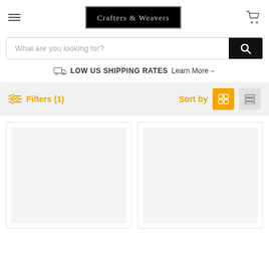Crafters & Weavers
What are you looking for?
LOW US SHIPPING RATES Learn More→
Filters (1)  Sort by
[Figure (screenshot): Two product image placeholder cards in a grid layout]